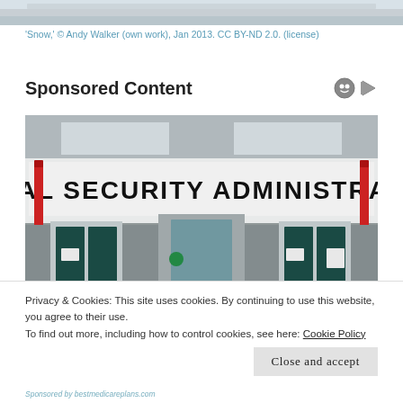[Figure (photo): Top edge of a snowy outdoor photo, cropped]
'Snow,' © Andy Walker (own work), Jan 2013. CC BY-ND 2.0. (license)
Sponsored Content
[Figure (photo): Photograph of the front entrance of a Social Security Administration building with a large white banner sign reading 'SOCIAL SECURITY ADMINISTRATION', red bollards, glass doors, and a ramp with railings]
Privacy & Cookies: This site uses cookies. By continuing to use this website, you agree to their use.
To find out more, including how to control cookies, see here: Cookie Policy
Close and accept
Sponsored by bestmedicareplans.com